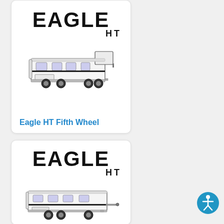[Figure (logo): Eagle HT logo in black bold text, top card]
[Figure (photo): Eagle HT Fifth Wheel RV trailer, side profile, black and white illustration]
Eagle HT Fifth Wheel
[Figure (logo): Eagle HT logo in black bold text, bottom card]
[Figure (photo): Eagle HT travel trailer RV, side profile, black and white illustration]
[Figure (illustration): Accessibility icon — blue circle with white figure]